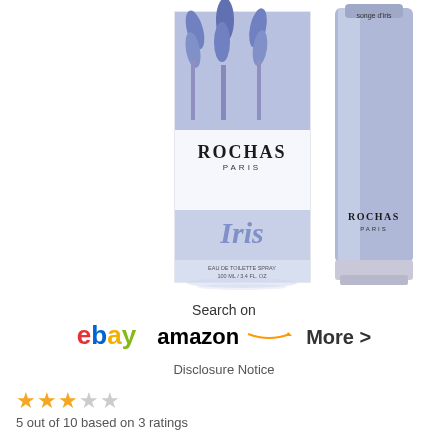[Figure (photo): Rochas Paris perfume product photo showing the box and bottle side by side. The box features blue iris flowers at the top with 'ROCHAS PARIS' text and the bottle is a tall cylindrical blue-purple glass bottle with 'ROCHAS PARIS' label. Text 'songe d'iris' appears at the top of the bottle.]
Search on
ebay amazon More >
Disclosure Notice
5 out of 10 based on 3 ratings